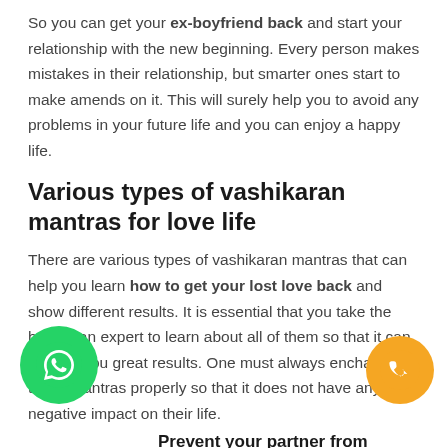So you can get your ex-boyfriend back and start your relationship with the new beginning. Every person makes mistakes in their relationship, but smarter ones start to make amends on it. This will surely help you to avoid any problems in your future life and you can enjoy a happy life.
Various types of vashikaran mantras for love life
There are various types of vashikaran mantras that can help you learn how to get your lost love back and show different results. It is essential that you take the help of an expert to learn about all of them so that it can provide you great results. One must always enchant these mantras properly so that it does not have any negative impact on their life.
Prevent your partner from cheating
If you want to learn how you can prevent your partner
[Figure (illustration): Green circular WhatsApp phone icon button at bottom-left]
[Figure (illustration): Orange circular phone icon button at bottom-right]